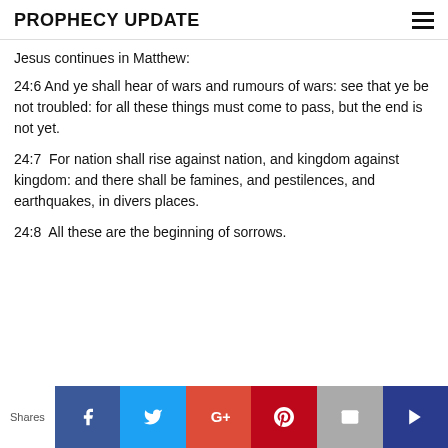PROPHECY UPDATE
Jesus continues in Matthew:
24:6 And ye shall hear of wars and rumours of wars: see that ye be not troubled: for all these things must come to pass, but the end is not yet.
24:7  For nation shall rise against nation, and kingdom against kingdom: and there shall be famines, and pestilences, and earthquakes, in divers places.
24:8  All these are the beginning of sorrows.
Shares